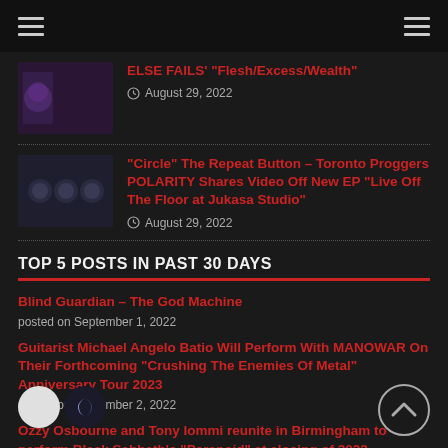Navigation header with hamburger menus on left and right
ELSE FAILS' "Flesh/Excess/Wealth"
August 29, 2022
"Circle" The Repeat Button – Toronto Proggers POLARITY Shares Video Off New EP "Live Off The Floor at Jukasa Studio"
August 29, 2022
TOP 5 POSTS IN PAST 30 DAYS
Blind Guardian – The God Machine
posted on September 1, 2022
Guitarist Michael Angelo Batio Will Perform With MANOWAR On Their Forthcoming "Crushing The Enemies Of Metal" Anniversary Tour 2023
posted on September 2, 2022
Ozzy Osbourne and Tony Iommi reunite in Birmingham to perform Black Sabbath's "Paranoid" at closing of 2022 "Commonwealth